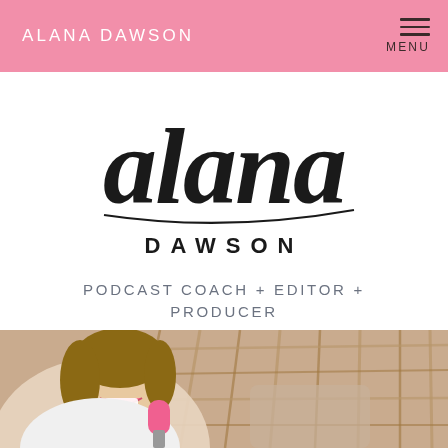ALANA DAWSON
[Figure (logo): Alana Dawson script and serif logo with cursive 'alana' and block 'DAWSON']
PODCAST COACH + EDITOR + PRODUCER
[Figure (photo): Woman laughing and holding a pink microphone, seated in a wicker egg chair]